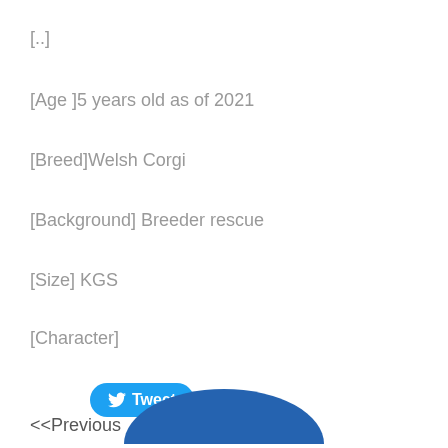[..]
[Age ]5 years old as of 2021
[Breed]Welsh Corgi
[Background] Breeder rescue
[Size] KGS
[Character]
[Figure (other): Tweet button with Twitter bird icon]
<<Previous
[Figure (other): Blue circle/dome shape at bottom of page]